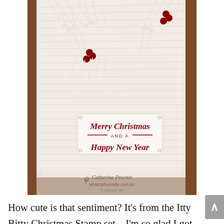[Figure (photo): A handmade Christmas card with embossed wood-grain background, white winter foliage wreath with red holly berries, and a sentiment label reading 'Merry Christmas AND A Happy New Year'. Watermark at bottom reads 'Catherine Proctor whatcathymade.com.au Stampin Up'. Card is photographed on a wooden surface.]
How cute is that sentiment? It's from the Itty Bitty Christmas Stamp set – I'm so glad I got this set. It has been die cut with the stunning frame from